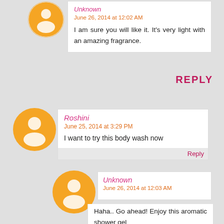Unknown
June 26, 2014 at 12:02 AM
I am sure you will like it. It's very light with an amazing fragrance.
REPLY
Roshini
June 25, 2014 at 3:29 PM
I want to try this body wash now
Reply
Unknown
June 26, 2014 at 12:03 AM
Haha.. Go ahead! Enjoy this aromatic shower gel